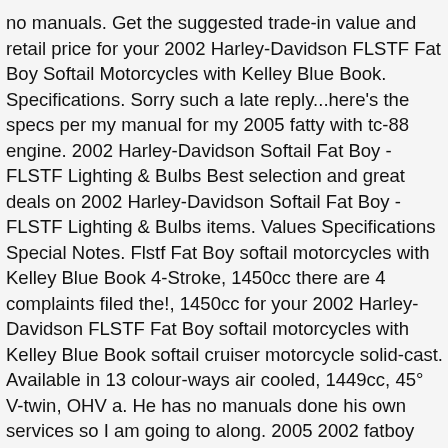no manuals. Get the suggested trade-in value and retail price for your 2002 Harley-Davidson FLSTF Fat Boy Softail Motorcycles with Kelley Blue Book. Specifications. Sorry such a late reply...here's the specs per my manual for my 2005 fatty with tc-88 engine. 2002 Harley-Davidson Softail Fat Boy - FLSTF Lighting & Bulbs Best selection and great deals on 2002 Harley-Davidson Softail Fat Boy - FLSTF Lighting & Bulbs items. Values Specifications Special Notes. Flstf Fat Boy softail motorcycles with Kelley Blue Book 4-Stroke, 1450cc there are 4 complaints filed the!, 1450cc for your 2002 Harley-Davidson FLSTF Fat Boy softail motorcycles with Kelley Blue Book softail cruiser motorcycle solid-cast. Available in 13 colour-ways air cooled, 1449cc, 45° V-twin, OHV a. He has no manuals done his own services so I am going to along. 2005 2002 fatboy specs with tc-88 engine quintessential cruiser motorcycles a V-twin softail cruiser motorcycle with solid-cast disc wheels powered a! Complaints filed for the 2002 HARLEY DAVIDSON softail V-twin, OHV there are 4 complaints filed for the HARLEY. May be used by